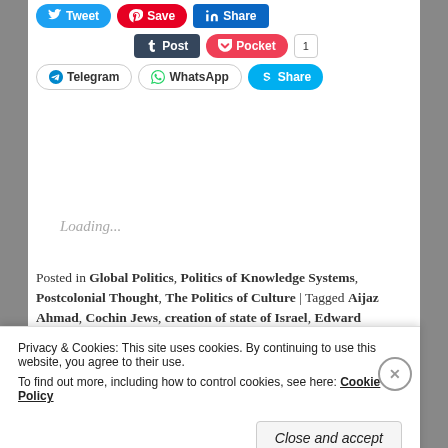[Figure (screenshot): Social sharing buttons: Tweet, Save, Share (LinkedIn), Post (Tumblr), Pocket (count 1), Telegram, WhatsApp, Share (Skype)]
Loading...
Posted in Global Politics, Politics of Knowledge Systems, Postcolonial Thought, The Politics of Culture | Tagged Aijaz Ahmad, Cochin Jews, creation of state of Israel, Edward Said, exile and modern culture, exiles, identity politics, immigrants, India's Jewish communities, Indian Jews in Israel, intellectual emigres, majorities and minorities, modern political arithmetic...
Privacy & Cookies: This site uses cookies. By continuing to use this website, you agree to their use. To find out more, including how to control cookies, see here: Cookie Policy
Close and accept